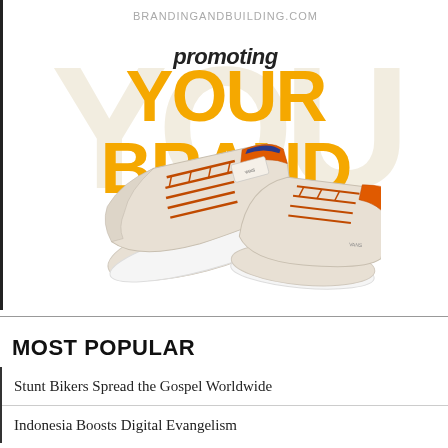BRANDINGANDBUILDING.COM
[Figure (illustration): Promotional graphic with large yellow text 'YOUR BRAND' and italic script 'promoting' overlaid on large light beige letters 'YOU', with two beige suede sneakers with orange accents photographed against white background.]
MOST POPULAR
Stunt Bikers Spread the Gospel Worldwide
Indonesia Boosts Digital Evangelism